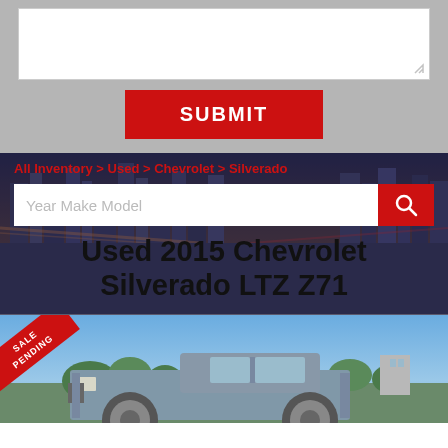[Figure (screenshot): Text input textarea box (white, empty)]
SUBMIT
All Inventory > Used > Chevrolet > Silverado
Year Make Model
Used 2015 Chevrolet Silverado LTZ Z71
[Figure (photo): Photo of a blue/silver 2015 Chevrolet Silverado LTZ Z71 truck in a dealership lot with trees in the background. A red 'SALE PENDING' banner is in the bottom-left corner of the image.]